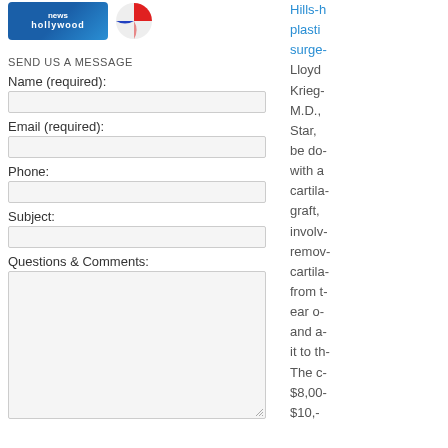[Figure (logo): News channel Hollywood logo and a circular red-blue icon]
SEND US A MESSAGE
Name (required):
Email (required):
Phone:
Subject:
Questions & Comments:
Hills-[partial] plasti[c] surge[on] Lloyd Krieg[er] M.D., Star, be do[ne] with a cartila[ge] graft, involv[ing] remo[val of] cartila[ge] from t[he] ear o[f] and a[ttach] it to th[e nose]. The c[ost] $8,00[0] $10,...